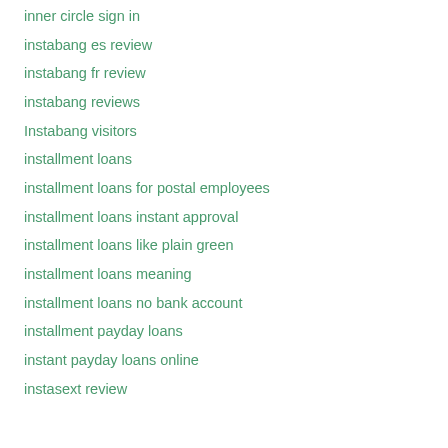inner circle sign in
instabang es review
instabang fr review
instabang reviews
Instabang visitors
installment loans
installment loans for postal employees
installment loans instant approval
installment loans like plain green
installment loans meaning
installment loans no bank account
installment payday loans
instant payday loans online
instasext review